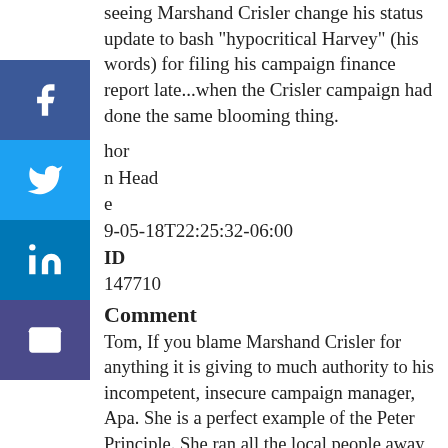seeing Marshand Crisler change his status update to bash "hypocritical Harvey" (his words) for filing his campaign finance report late...when the Crisler campaign had done the same blooming thing.
Author
Balloon Head
Date
2019-05-18T22:25:32-06:00
ID
147710
Comment
Tom, If you blame Marshand Crisler for anything it is giving to much authority to his incompetent, insecure campaign manager, Apa. She is a perfect example of the Peter Principle. She ran all the local people away from Gary Anderson's campaign and has done the same thing in the Crisler campaign. If Crisler does not surround himself